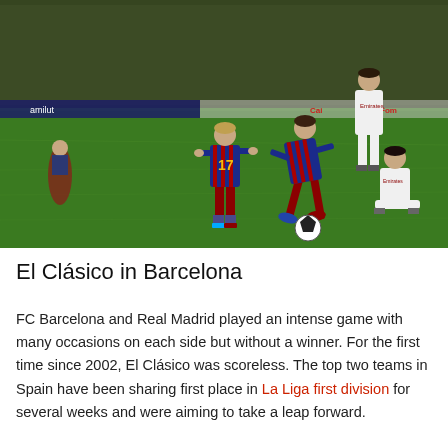[Figure (photo): FC Barcelona vs Real Madrid El Clasico match photo at night. Barcelona players in blue/red striped jerseys (number 17 Griezmann, and Messi with ball) competing against Real Madrid players in white jerseys on a green pitch with stadium crowd in background.]
El Clásico in Barcelona
FC Barcelona and Real Madrid played an intense game with many occasions on each side but without a winner. For the first time since 2002, El Clásico was scoreless. The top two teams in Spain have been sharing first place in La Liga first division for several weeks and were aiming to take a leap forward.